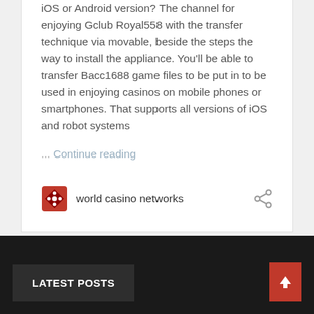iOS or Android version?  The channel for enjoying Gclub Royal558 with the transfer technique via movable, beside the steps the way to install the appliance.  You'll be able to transfer Bacc1688 game files to be put in to be used in enjoying casinos on mobile phones or smartphones. That supports all versions of iOS and robot systems
... Continue reading
world casino networks
LATEST POSTS